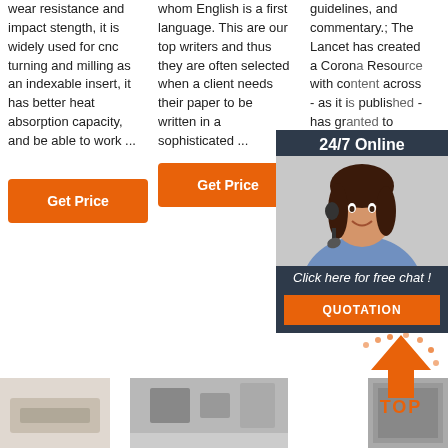wear resistance and impact stength, it is widely used for cnc turning and milling as an indexable insert, it has better heat absorption capacity, and be able to work ...
whom English is a first language. This are our top writers and thus they are often selected when a client needs their paper to be written in a sophisticated ...
guidelines, and commentary.; The Lancet has created a Corona Resource with content across - as it is published - has granted to access the latest and COVID...
[Figure (other): 24/7 Online chat widget with female customer service agent wearing headset, dark background, 'Click here for free chat!' text and orange QUOTATION button]
Get Price
Get Price
Get Price
[Figure (other): Orange and white TOP arrow badge/icon]
[Figure (photo): Bottom left partial product image]
[Figure (photo): Bottom center product or interior photo]
[Figure (photo): Bottom right partial product image]